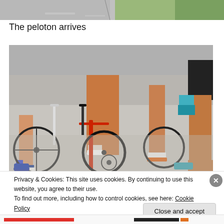[Figure (photo): Top portion of a cycling peloton photo showing road and green grass in background]
The peloton arrives
[Figure (photo): Close-up photo of cyclists' legs and bicycles in a peloton, showing various colorful cycling socks and shoes, bicycle frames and wheels on a road]
Privacy & Cookies: This site uses cookies. By continuing to use this website, you agree to their use.
To find out more, including how to control cookies, see here: Cookie Policy
Close and accept